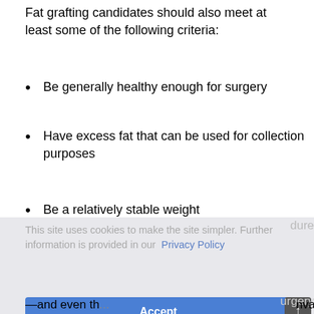Fat grafting candidates should also meet at least some of the following criteria:
Be generally healthy enough for surgery
Have excess fat that can be used for collection purposes
Be a relatively stable weight
This site uses cookies to make the site simpler. Further information is provided in our Privacy Policy
Accept
Book Now
—and even th... nvasive